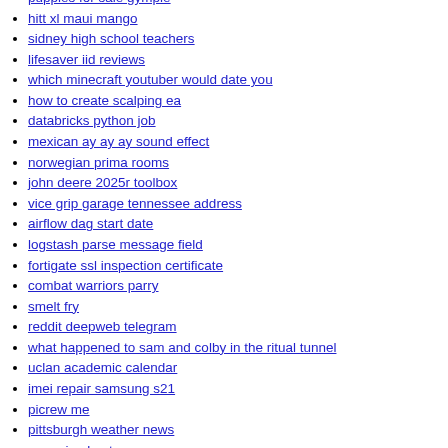puppies for sale gympie
hitt xl maui mango
sidney high school teachers
lifesaver iid reviews
which minecraft youtuber would date you
how to create scalping ea
databricks python job
mexican ay ay ay sound effect
norwegian prima rooms
john deere 2025r toolbox
vice grip garage tennessee address
airflow dag start date
logstash parse message field
fortigate ssl inspection certificate
combat warriors parry
smelt fry
reddit deepweb telegram
what happened to sam and colby in the ritual tunnel
uclan academic calendar
imei repair samsung s21
picrew me
pittsburgh weather news
empyrion best cv
juggernaut tactical featureless grip weight
libra sun sagittarius moon celebrities
how to off headlight beam round